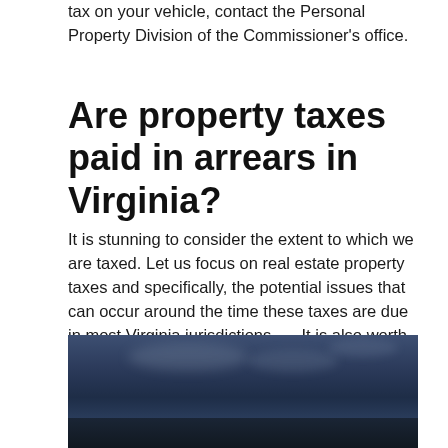tax on your vehicle, contact the Personal Property Division of the Commissioner's office.
Are property taxes paid in arrears in Virginia?
It is stunning to consider the extent to which we are taxed. Let us focus on real estate property taxes and specifically, the potential issues that can occur around the time these taxes are due in most Virginia jurisdictions. … It is also worth noting that property taxes are paid in arrears.
[Figure (photo): A dark blue-toned outdoor/sky photograph, partially visible at the bottom of the page.]